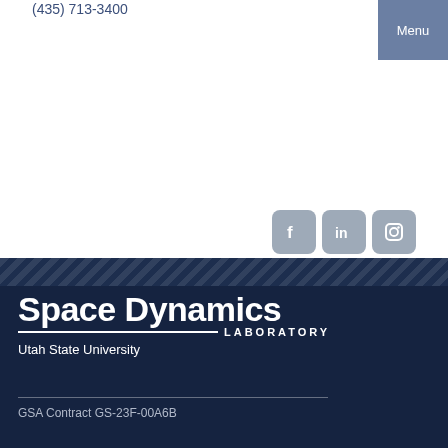(435) 713-3400
Menu
[Figure (illustration): Social media icons: Facebook, LinkedIn, Instagram in gray rounded square boxes]
[Figure (logo): Space Dynamics Laboratory logo — Utah State University, white text on dark navy background]
GSA Contract GS-23F-00A6B